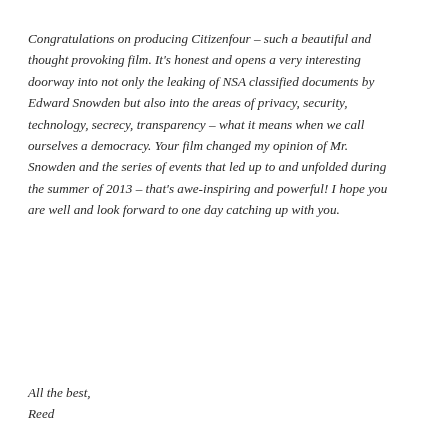Congratulations on producing Citizenfour – such a beautiful and thought provoking film. It's honest and opens a very interesting doorway into not only the leaking of NSA classified documents by Edward Snowden but also into the areas of privacy, security, technology, secrecy, transparency – what it means when we call ourselves a democracy. Your film changed my opinion of Mr. Snowden and the series of events that led up to and unfolded during the summer of 2013 – that's awe-inspiring and powerful! I hope you are well and look forward to one day catching up with you.
All the best,
Reed